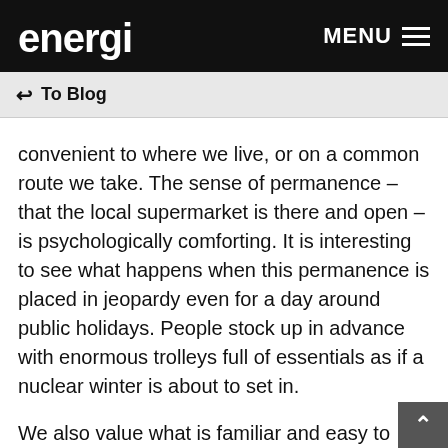energi | MENU
↺  To Blog
convenient to where we live, or on a common route we take. The sense of permanence – that the local supermarket is there and open – is psychologically comforting. It is interesting to see what happens when this permanence is placed in jeopardy even for a day around public holidays. People stock up in advance with enormous trolleys full of essentials as if a nuclear winter is about to set in.
We also value what is familiar and easy to shop. There is nothing worse than getting lost navigating the unfamiliar aisles of a foreign supermarket. It takes a lot longer to shop, not being able to find what you